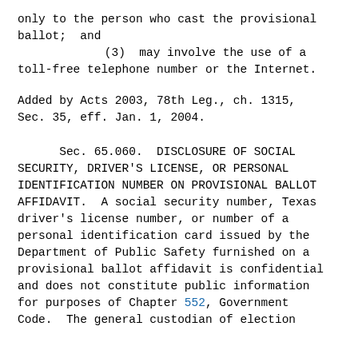only to the person who cast the provisional ballot;  and
            (3)  may involve the use of a toll-free telephone number or the Internet.
Added by Acts 2003, 78th Leg., ch. 1315, Sec. 35, eff. Jan. 1, 2004.
Sec. 65.060.  DISCLOSURE OF SOCIAL SECURITY, DRIVER'S LICENSE, OR PERSONAL IDENTIFICATION NUMBER ON PROVISIONAL BALLOT AFFIDAVIT.  A social security number, Texas driver's license number, or number of a personal identification card issued by the Department of Public Safety furnished on a provisional ballot affidavit is confidential and does not constitute public information for purposes of Chapter 552, Government Code.  The general custodian of election